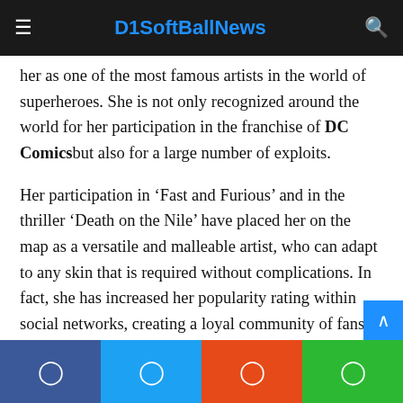D1SoftBallNews
her as one of the most famous artists in the world of superheroes. She is not only recognized around the world for her participation in the franchise of DC Comics but also for a large number of exploits.
Her participation in ‘Fast and Furious’ and in the thriller ‘Death on the Nile’ have placed her on the map as a versatile and malleable artist, who can adapt to any skin that is required without complications. In fact, she has increased her popularity rating within social networks, creating a loyal community of fans.
But this wonderful career began almost twenty years ago, when she was crowned in one of the most important beauty